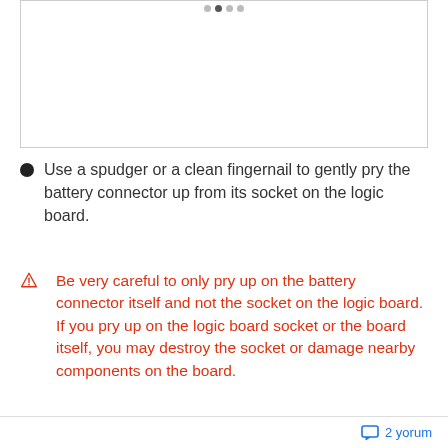[Figure (photo): Image placeholder with dot carousel indicators at top center]
Use a spudger or a clean fingernail to gently pry the battery connector up from its socket on the logic board.
Be very careful to only pry up on the battery connector itself and not the socket on the logic board. If you pry up on the logic board socket or the board itself, you may destroy the socket or damage nearby components on the board.
2 yorum